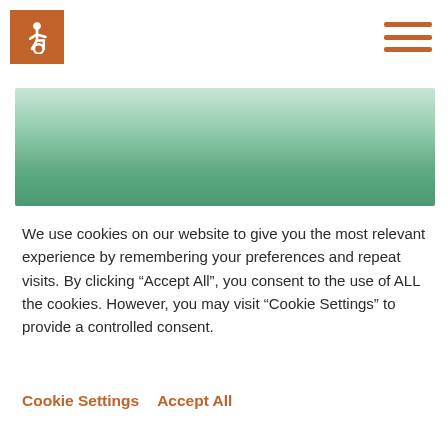[Figure (logo): Wheelchair accessibility icon — white person-in-wheelchair symbol on an orange/brown square background]
[Figure (infographic): Three horizontal orange lines forming a hamburger/menu icon in the top-right corner]
[Figure (illustration): Green gradient banner/hero image area with gradient from light mint at top to medium green at bottom]
We use cookies on our website to give you the most relevant experience by remembering your preferences and repeat visits. By clicking “Accept All”, you consent to the use of ALL the cookies. However, you may visit "Cookie Settings" to provide a controlled consent.
Cookie Settings  Accept All